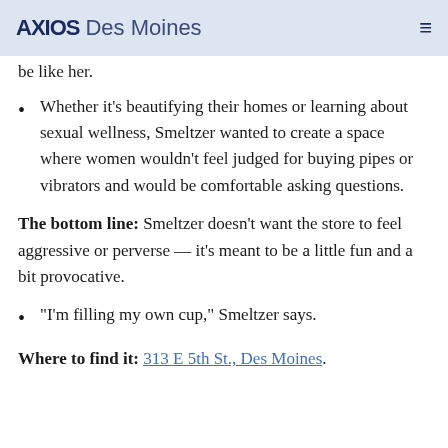AXIOS Des Moines
be like her.
Whether it's beautifying their homes or learning about sexual wellness, Smeltzer wanted to create a space where women wouldn't feel judged for buying pipes or vibrators and would be comfortable asking questions.
The bottom line: Smeltzer doesn't want the store to feel aggressive or perverse — it's meant to be a little fun and a bit provocative.
"I'm filling my own cup," Smeltzer says.
Where to find it: 313 E 5th St., Des Moines.